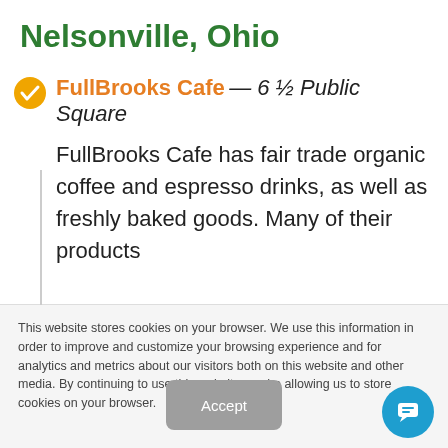Nelsonville, Ohio
FullBrooks Cafe — 6 ½ Public Square
FullBrooks Cafe has fair trade organic coffee and espresso drinks, as well as freshly baked goods. Many of their products
This website stores cookies on your browser. We use this information in order to improve and customize your browsing experience and for analytics and metrics about our visitors both on this website and other media. By continuing to use this website, you're allowing us to store cookies on your browser.
Accept